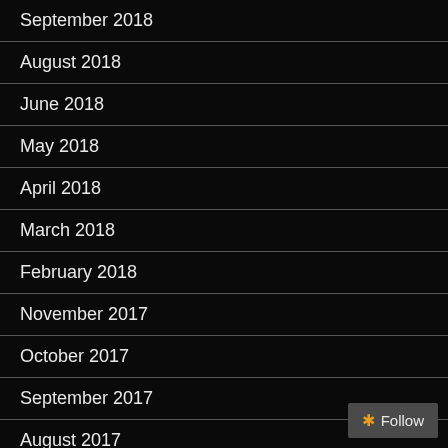September 2018
August 2018
June 2018
May 2018
April 2018
March 2018
February 2018
November 2017
October 2017
September 2017
August 2017
July 2017
June 2017